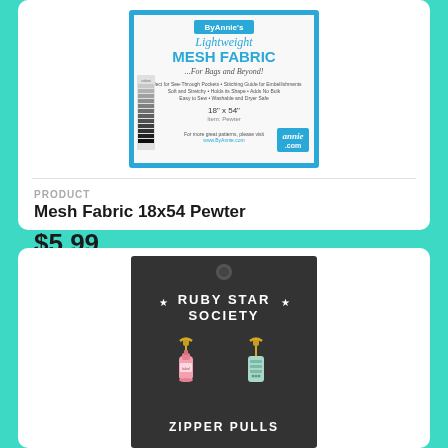[Figure (photo): Product packaging image for Annie's Lightweight Mesh Fabric for Bags and Beyond, 18x54 inches, Pewter color]
PRODUCT
Mesh Fabric 18x54 Pewter
$5.99
[Figure (photo): Ruby Star Society Zipper Pulls product packaging on dark background, showing two charm-style zipper pulls: a pink bottle and a mint/teal sewing machine or similar item, with gold lobster claw clasps. Text reads RUBY STAR SOCIETY and ZIPPER PULLS.]